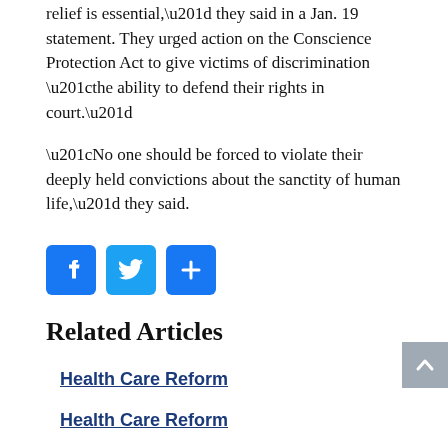relief is essential,” they said in a Jan. 19 statement. They urged action on the Conscience Protection Act to give victims of discrimination “the ability to defend their rights in court.”
“No one should be forced to violate their deeply held convictions about the sanctity of human life,” they said.
[Figure (other): Social media share buttons: Facebook, Twitter, and a general share/plus button]
Related Articles
Health Care Reform
Health Care Reform
Health Care Reform